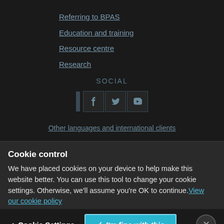Referring to BPAS
Education and training
Resource centre
Research
SOCIAL
[Figure (other): Social media icons: vertical bar/LinkedIn, Facebook, Twitter, YouTube]
Other languages and international clients
Cookie control
We have placed cookies on your device to help make this website better. You can use this tool to change your cookie settings. Otherwise, we'll assume you're OK to continue. View our cookie policy
Cookie Settings | ✓ I'm fine with this | ✗